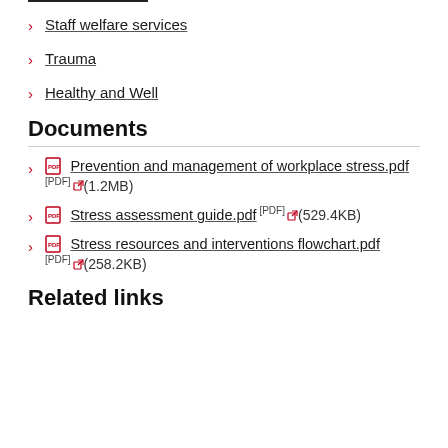Staff welfare services
Trauma
Healthy and Well
Documents
Prevention and management of workplace stress.pdf [PDF] (1.2MB)
Stress assessment guide.pdf [PDF] (529.4KB)
Stress resources and interventions flowchart.pdf [PDF] (258.2KB)
Related links